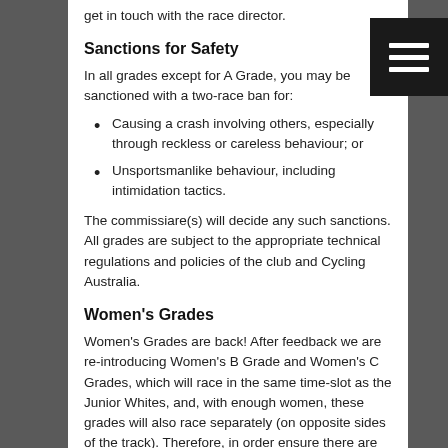get in touch with the race director.
Sanctions for Safety
In all grades except for A Grade, you may be sanctioned with a two-race ban for:
Causing a crash involving others, especially through reckless or careless behaviour; or
Unsportsmanlike behaviour, including intimidation tactics.
The commissiare(s) will decide any such sanctions. All grades are subject to the appropriate technical regulations and policies of the club and Cycling Australia.
Women's Grades
Women's Grades are back! After feedback we are re-introducing Women's B Grade and Women's C Grades, which will race in the same time-slot as the Junior Whites, and, with enough women, these grades will also race separately (on opposite sides of the track). Therefore, in order ensure there are